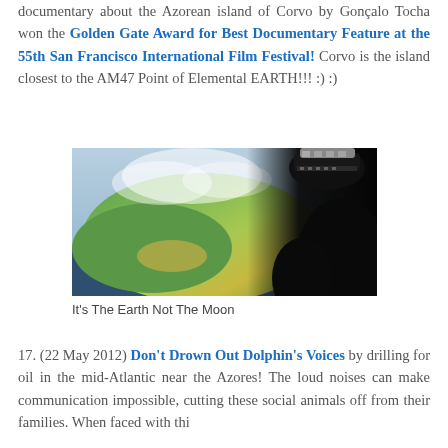documentary about the Azorean island of Corvo by Gonçalo Tocha won the Golden Gate Award for Best Documentary Feature at the 55th San Francisco International Film Festival! Corvo is the island closest to the AM47 Point of Elemental EARTH!!! :) :)
[Figure (photo): Aerial or elevated view of a green volcanic island (Corvo, Azores) with ocean surrounding it and clouds above, with a dark silhouetted figure wearing a knitted hat in the foreground right.]
It's The Earth Not The Moon
17. (22 May 2012) Don't Drown Out Dolphin's Voices by drilling for oil in the mid-Atlantic near the Azores! The loud noises can make communication impossible, cutting these social animals off from their families. When faced with thi